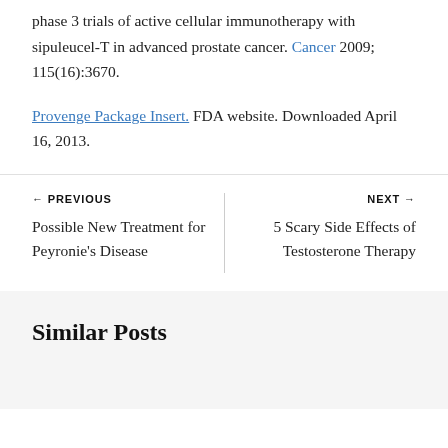phase 3 trials of active cellular immunotherapy with sipuleucel-T in advanced prostate cancer. Cancer 2009; 115(16):3670.
Provenge Package Insert. FDA website. Downloaded April 16, 2013.
← PREVIOUS
Possible New Treatment for Peyronie's Disease
NEXT →
5 Scary Side Effects of Testosterone Therapy
Similar Posts